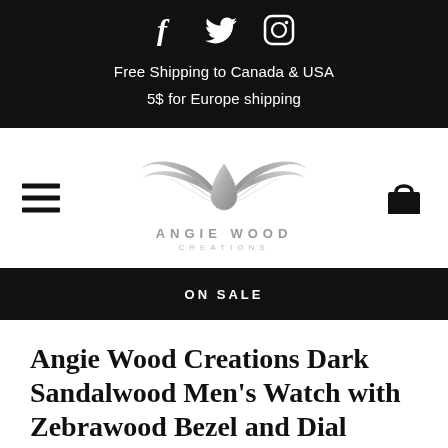Free Shipping to Canada & USA
5$ for Europe shipping
[Figure (logo): Angie Wood Creations logo with silver wings and droplet shape, with text ANGIE WOOD CREATIONS]
ON SALE
Angie Wood Creations Dark Sandalwood Men's Watch with Zebrawood Bezel and Dial